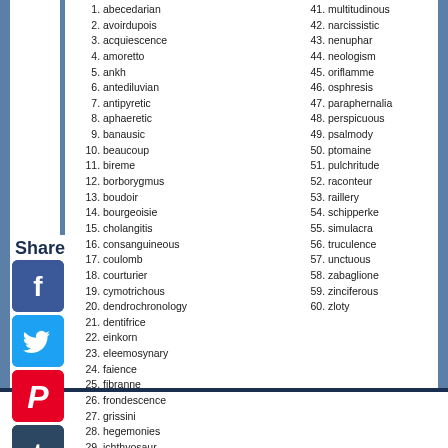1. abecedarian
2. avoirdupois
3. acquiescence
4. amoretto
5. ankh
6. antediluvian
7. antipyretic
8. aphaeretic
9. banausic
10. beaucoup
11. bireme
12. borborygmus
13. boudoir
14. bourgeoisie
15. cholangitis
16. consanguineous
17. coulomb
18. courturier
19. cymotrichous
20. dendrochronology
21. dentifrice
22. einkorn
23. eleemosynary
24. faience
25. fibranne
26. frondescence
27. grissini
28. hegemonies
29. ichthyosaur
30. idiosyncratic
31. infinitesimal
32. interstitial
33. iontophoresis
34. jodhpurs
41. multitudinous
42. narcissistic
43. nenuphar
44. neologism
45. oriflamme
46. osphresis
47. paraphernalia
48. perspicuous
49. psalmody
50. ptomaine
51. pulchritude
52. raconteur
53. raillery
54. schipperke
55. simulacra
56. truculence
57. unctuous
58. zabaglione
59. zinciferous
60. zloty
Share
[Figure (illustration): Social media share buttons: Facebook (blue), Twitter (light blue), Pinterest (red), Tumblr (dark blue), Reddit (orange), WhatsApp (green)]